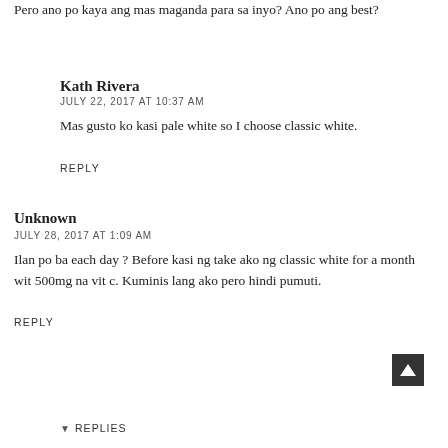Pero ano po kaya ang mas maganda para sa inyo? Ano po ang best?
Kath Rivera
JULY 22, 2017 AT 10:37 AM
Mas gusto ko kasi pale white so I choose classic white.
REPLY
Unknown
JULY 28, 2017 AT 1:09 AM
Ilan po ba each day ? Before kasi ng take ako ng classic white for a month wit 500mg na vit c. Kuminis lang ako pero hindi pumuti.
REPLY
REPLIES